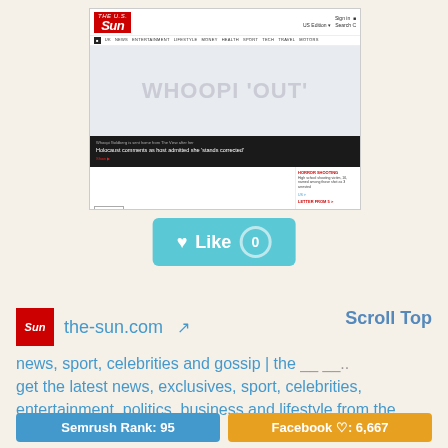[Figure (screenshot): Screenshot of The U.S. Sun website homepage showing the Sun logo, navigation bar, a headline about Whoopi with text 'WHOOPI OUT' and subheadline about Holocaust comments and 'stands corrected', with siteprice.org badge and sidebar content]
[Figure (other): Teal 'Like 0' button with heart icon]
the-sun.com
Scroll Top
news, sport, celebrities and gossip | the __ __...
get the latest news, exclusives, sport, celebrities, entertainment, politics, business and lifestyle from the us sun
Semrush Rank: 95
Facebook ♡: 6,667